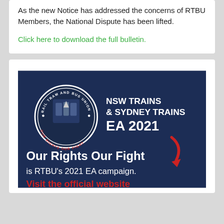As the new Notice has addressed the concerns of RTBU Members, the National Dispute has been lifted.
Click here to download the full bulletin.
[Figure (illustration): RTBU (Rail Tram and Bus Union) promotional banner for NSW Trains & Sydney Trains EA 2021. Dark navy blue background with RTBU circular logo on the left showing trains. Text reads: 'NSW TRAINS & SYDNEY TRAINS EA 2021' in white bold text, a red arrow pointing down, 'Our Rights Our Fight' in large white bold text, 'is RTBU's 2021 EA campaign.' in white text, and 'Visit the official website' in red bold text at the bottom.]